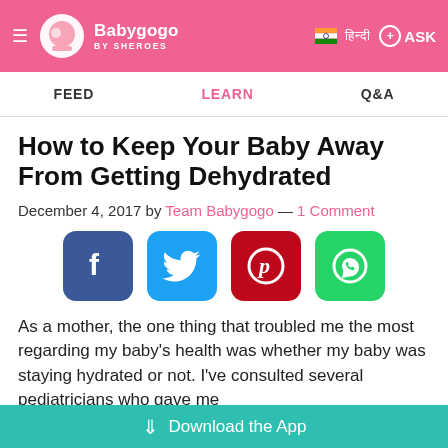Babygogo BY SHEROES — FEED | LEARN | Q&A
How to Keep Your Baby Away From Getting Dehydrated
December 4, 2017 by Team Babygogo — 1 Comment
[Figure (other): Social sharing icons: Facebook, Twitter, Pinterest, WhatsApp]
As a mother, the one thing that troubled me the most regarding my baby's health was whether my baby was staying hydrated or not. I've consulted several pediatricians who gave me...
Download the App